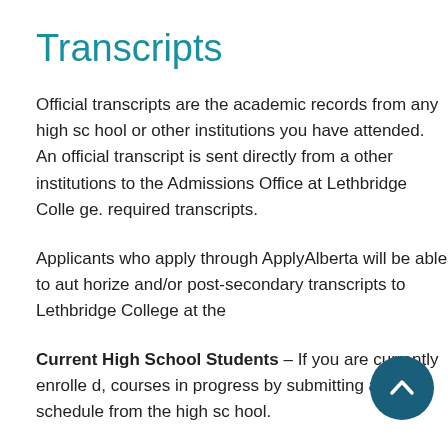Transcripts
Official transcripts are the academic records from any high school or other institutions you have attended. An official transcript is sent directly from an institution to other institutions to the Admissions Office at Lethbridge College. There are required transcripts.
Applicants who apply through ApplyAlberta will be able to authorize high school and/or post-secondary transcripts to Lethbridge College at the time of application.
Current High School Students – If you are currently enrolled, you can indicate courses in progress by submitting a schedule from the high school.
High School Transcripts from Other Provinces – Transcripts can be obtained from the appropriate education board of the province in which you attended school. New Brunswick, Nova Scotia, and PEI high school transcripts can be obtained from the school attended.